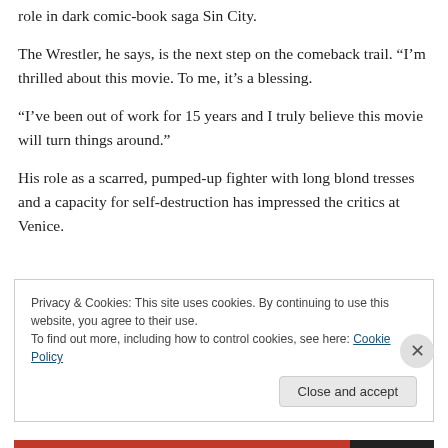role in dark comic-book saga Sin City.
The Wrestler, he says, is the next step on the comeback trail. “I’m thrilled about this movie. To me, it’s a blessing.
“I’ve been out of work for 15 years and I truly believe this movie will turn things around.”
His role as a scarred, pumped-up fighter with long blond tresses and a capacity for self-destruction has impressed the critics at Venice.
Privacy & Cookies: This site uses cookies. By continuing to use this website, you agree to their use.
To find out more, including how to control cookies, see here: Cookie Policy
Close and accept